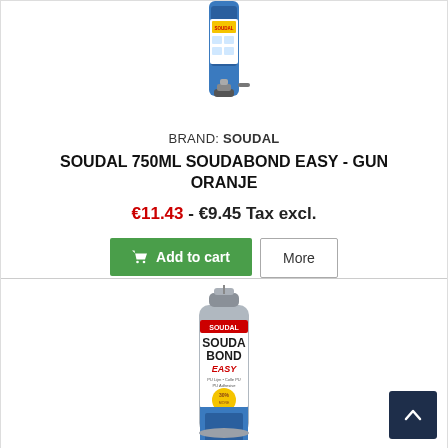[Figure (photo): Soudal spray can product image, partially visible at top of first card]
BRAND: SOUDAL
SOUDAL 750ML SOUDABOND EASY - GUN ORANJE
€11.43 - €9.45 Tax excl.
Add to cart
More
[Figure (photo): Soudal Soudabond Easy 750ml gun-type adhesive canister product image]